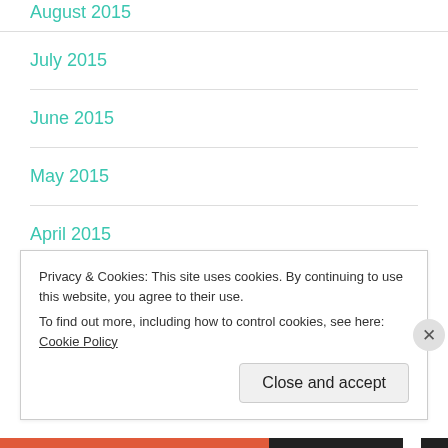August 2015
July 2015
June 2015
May 2015
April 2015
March 2015
Privacy & Cookies: This site uses cookies. By continuing to use this website, you agree to their use. To find out more, including how to control cookies, see here: Cookie Policy
Close and accept